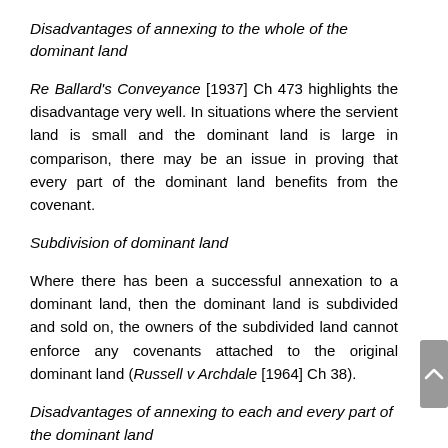Disadvantages of annexing to the whole of the dominant land
Re Ballard's Conveyance [1937] Ch 473 highlights the disadvantage very well. In situations where the servient land is small and the dominant land is large in comparison, there may be an issue in proving that every part of the dominant land benefits from the covenant.
Subdivision of dominant land
Where there has been a successful annexation to a dominant land, then the dominant land is subdivided and sold on, the owners of the subdivided land cannot enforce any covenants attached to the original dominant land (Russell v Archdale [1964] Ch 38).
Disadvantages of annexing to each and every part of the dominant land
After we have discussed the disadvantages of annexing as a whole, it would seem that the obvious choice would be to annex to each and every part. However, as you can